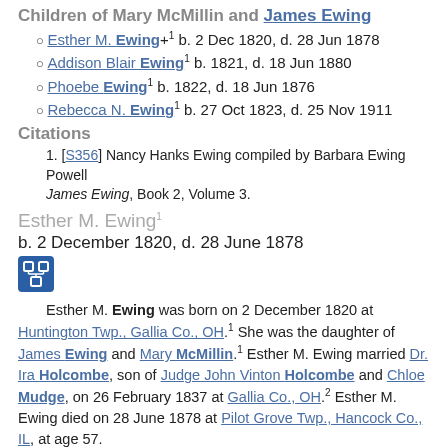Children of Mary McMillin and James Ewing
Esther M. Ewing+1 b. 2 Dec 1820, d. 28 Jun 1878
Addison Blair Ewing1 b. 1821, d. 18 Jun 1880
Phoebe Ewing1 b. 1822, d. 18 Jun 1876
Rebecca N. Ewing1 b. 27 Oct 1823, d. 25 Nov 1911
Citations
[S356] Nancy Hanks Ewing compiled by Barbara Ewing Powell James Ewing, Book 2, Volume 3.
Esther M. Ewing1
b. 2 December 1820, d. 28 June 1878
[Figure (other): Blue icon box with genealogy/family tree symbol]
Esther M. Ewing was born on 2 December 1820 at Huntington Twp., Gallia Co., OH.1 She was the daughter of James Ewing and Mary McMillin.1 Esther M. Ewing married Dr. Ira Holcombe, son of Judge John Vinton Holcombe and Chloe Mudge, on 26 February 1837 at Gallia Co., OH.2 Esther M. Ewing died on 28 June 1878 at Pilot Grove Twp., Hancock Co., IL, at age 57.
Children of Esther M. Ewing and Dr. Ira Holcombe